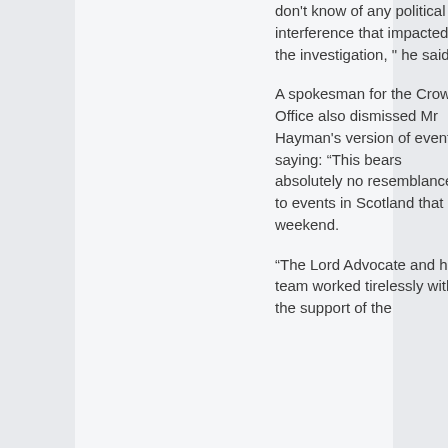don't know of any political interference that impacted on the investigation, " he said.
A spokesman for the Crown Office also dismissed Mr Hayman's version of events, saying: “This bears absolutely no resemblance to events in Scotland that weekend.
“The Lord Advocate and her team worked tirelessly with the support of the